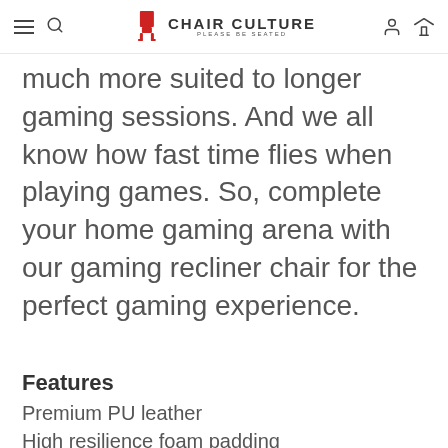Chair Culture — Please Be Seated (navigation bar with hamburger menu, search, logo, user icon, cart icon)
much more suited to longer gaming sessions. And we all know how fast time flies when playing games. So, complete your home gaming arena with our gaming recliner chair for the perfect gaming experience.
Features
Premium PU leather
High resilience foam padding